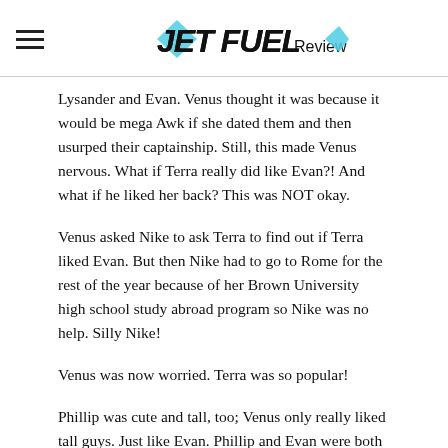JET FUEL Review
Lysander and Evan. Venus thought it was because it would be mega Awk if she dated them and then usurped their captainship. Still, this made Venus nervous. What if Terra really did like Evan?! And what if he liked her back? This was NOT okay.
Venus asked Nike to ask Terra to find out if Terra liked Evan. But then Nike had to go to Rome for the rest of the year because of her Brown University high school study abroad program so Nike was no help. Silly Nike!
Venus was now worried. Terra was so popular!
Phillip was cute and tall, too; Venus only really liked tall guys. Just like Evan. Phillip and Evan were both super smart except Phillip was smarter. Which was good, Venus deduced, if she wanted financial stability in the